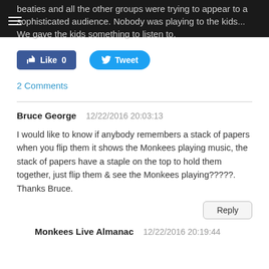beaties and all the other groups were trying to appear to a sophisticated audience. Nobody was playing to the kids... We gave the kids something to listen to.
[Figure (other): Facebook Like button (Like 0) and Twitter Tweet button]
2 Comments
Bruce George   12/22/2016 20:03:13
I would like to know if anybody remembers a stack of papers when you flip them it shows the Monkees playing music, the stack of papers have a staple on the top to hold them together, just flip them & see the Monkees playing?????. Thanks Bruce.
Reply
Monkees Live Almanac   12/22/2016 20:19:44